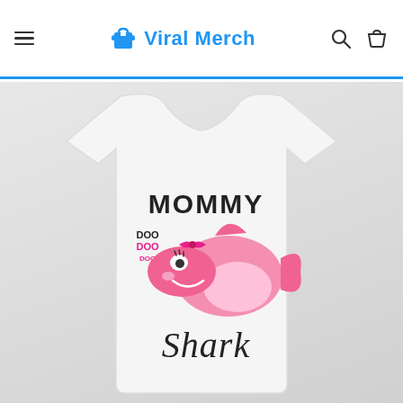Viral Merch
[Figure (photo): White t-shirt product photo featuring a pink cartoon shark with the text 'MOMMY Shark' and 'doo doo doo' printed on the front, displayed on a gray gradient background.]